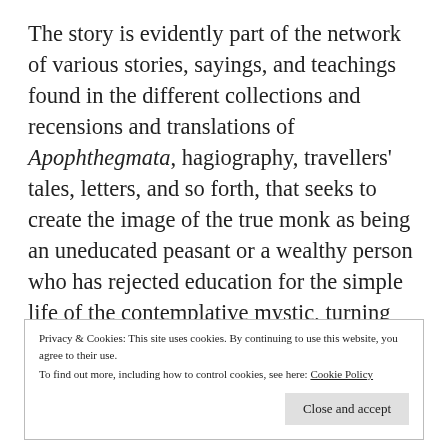The story is evidently part of the network of various stories, sayings, and teachings found in the different collections and recensions and translations of Apophthegmata, hagiography, travellers' tales, letters, and so forth, that seeks to create the image of the true monk as being an uneducated peasant or a wealthy person who has rejected education for the simple life of the contemplative mystic, turning aside from Greek philosophy and the
Privacy & Cookies: This site uses cookies. By continuing to use this website, you agree to their use.
To find out more, including how to control cookies, see here: Cookie Policy
[Close and accept]